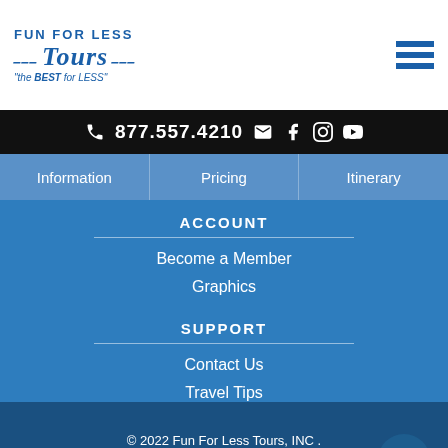[Figure (logo): Fun For Less Tours logo with wings and tagline 'the BEST for LESS']
877.557.4210
Information | Pricing | Itinerary
ACCOUNT
Become a Member
Graphics
SUPPORT
Contact Us
Travel Tips
© 2022 Fun For Less Tours, INC . All rights reserved.